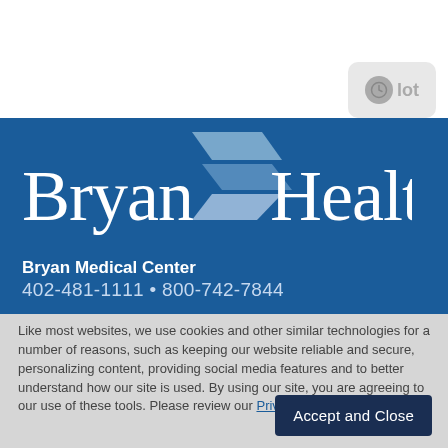[Figure (logo): Bryan Health logo on dark blue background with stylized arrow chevron between 'Bryan' and 'Health' in white serif font]
Bryan Medical Center
402-481-1111 • 800-742-7844
Like most websites, we use cookies and other similar technologies for a number of reasons, such as keeping our website reliable and secure, personalizing content, providing social media features and to better understand how our site is used. By using our site, you are agreeing to our use of these tools. Please review our Privacy Policy to learn more.
Accept and Close